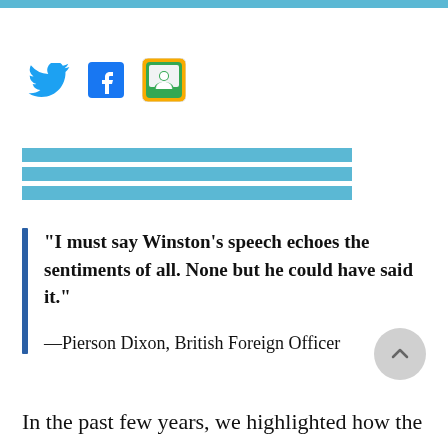[Figure (other): Social media icons: Twitter (blue bird), Facebook (blue F), Google Classroom (green/yellow icon with person)]
[Figure (other): Three horizontal teal/blue decorative lines]
"I must say Winston’s speech echoes the sentiments of all. None but he could have said it."

—Pierson Dixon, British Foreign Officer
In the past few years, we highlighted how the